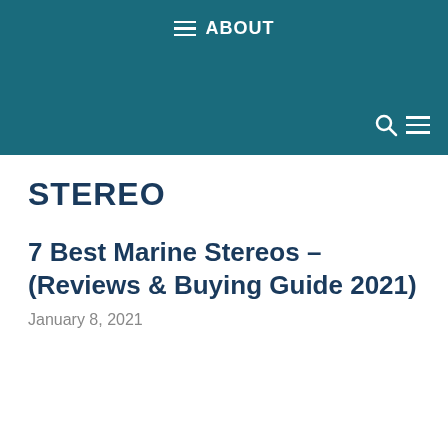ABOUT
STEREO
7 Best Marine Stereos – (Reviews & Buying Guide 2021)
January 8, 2021